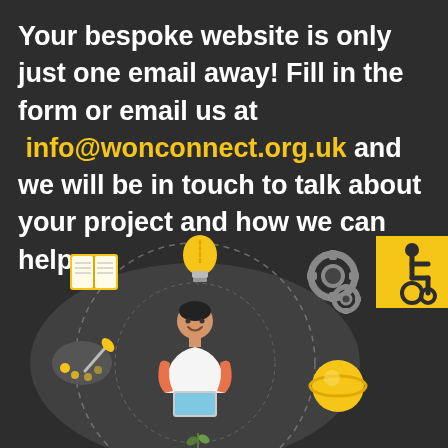Your bespoke website is only just one email away! Fill in the form or email us at info@wonconnect.org.uk and we will be in touch to talk about your project and how we can help
[Figure (illustration): Illustration of a person at a laptop surrounded by creative icons: an open book, a lightbulb, gear/cog wheels, a paint palette with brush, and a sphere/planet, connected by dashed circular lines.]
[Figure (illustration): Yellow accessibility symbol (wheelchair icon) on a yellow square badge in the bottom-right corner.]